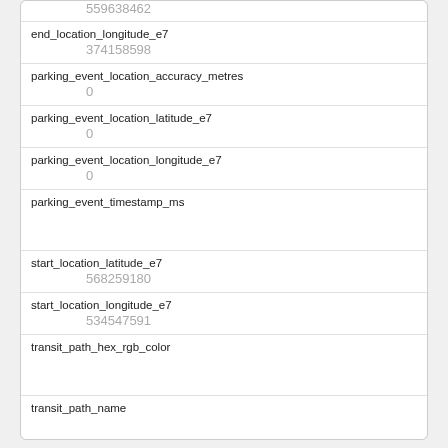| 559638462 |
| end_location_longitude_e7 | 374158598 |
| parking_event_location_accuracy_metres | 0 |
| parking_event_location_latitude_e7 | 0 |
| parking_event_location_longitude_e7 | 0 |
| parking_event_timestamp_ms |  |
| start_location_latitude_e7 | 568259180 |
| start_location_longitude_e7 | 534547591 |
| transit_path_hex_rgb_color |  |
| transit_path_name |  |